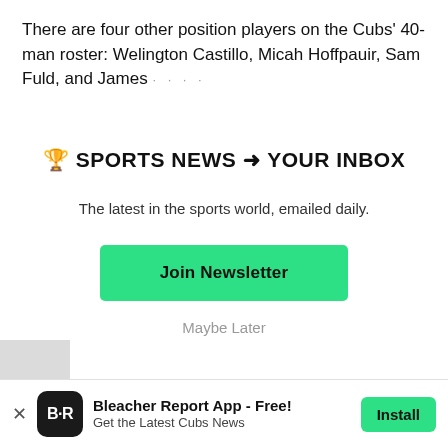There are four other position players on the Cubs' 40-man roster: Welington Castillo, Micah Hoffpauir, Sam Fuld, and James · · · ·
🏆 SPORTS NEWS ➜ YOUR INBOX
The latest in the sports world, emailed daily.
Join Newsletter
Maybe Later
Bleacher Report App - Free! Get the Latest Cubs News Install